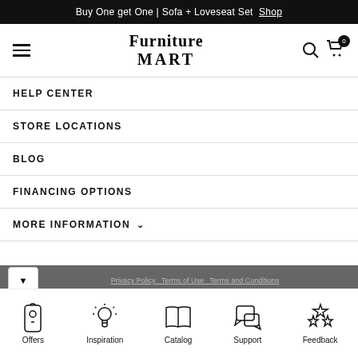Buy One get One | Sofa + Loveseat Set Shop
[Figure (logo): Furniture Mart logo with hamburger menu, search icon, and cart icon showing 0 items]
HELP CENTER
STORE LOCATIONS
BLOG
FINANCING OPTIONS
MORE INFORMATION
Privacy Policy  Terms of Use  Terms and Conditions
[Figure (infographic): Bottom navigation bar with five icons: Offers (tag icon), Inspiration (lightbulb icon), Catalog (open book icon), Support (chat bubble icon), Feedback (stars icon)]